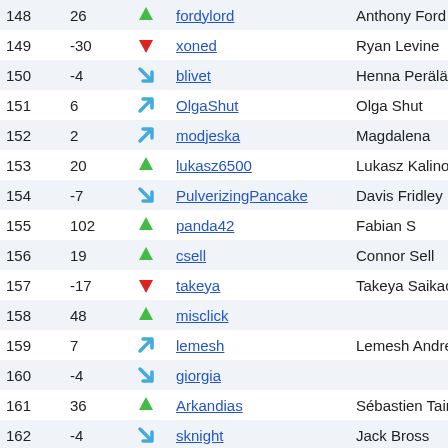| Rank | Change | Trend | Username | Real Name |
| --- | --- | --- | --- | --- |
| 148 | 26 | ↑ | fordylord | Anthony Ford |
| 149 | -30 | ↓ | xoned | Ryan Levine |
| 150 | -4 | ↘ | blivet | Henna Perälä |
| 151 | 6 | ↗ | OlgaShut | Olga Shut |
| 152 | 2 | ↗ | modjeska | Magdalena |
| 153 | 20 | ↑ | lukasz6500 | Lukasz Kalinowski |
| 154 | -7 | ↘ | PulverizingPancake | Davis Fridley |
| 155 | 102 | ↑ | panda42 | Fabian S |
| 156 | 19 | ↑ | csell | Connor Sell |
| 157 | -17 | ↓ | takeya | Takeya Saikachi |
| 158 | 48 | ↑ | misclick |  |
| 159 | 7 | ↗ | lemesh | Lemesh Andrey |
| 160 | -4 | ↘ | giorgia |  |
| 161 | 36 | ↑ | Arkandias | Sébastien Tainon |
| 162 | -4 | ↘ | sknight | Jack Bross |
| 163 | -13 | ↓ | garganega | Veronika Lengauer |
| 164 | 44 | ↑ | 3strikerz | Ganghyun Lee |
| 165 | 40 | ↑ | Sedho | Sed Holaysan |
| 166 | -41 | ↓ | ... | ... |